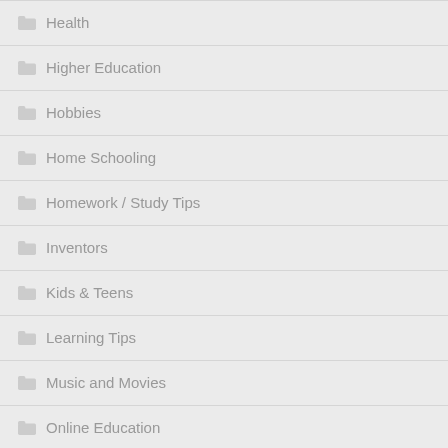Health
Higher Education
Hobbies
Home Schooling
Homework / Study Tips
Inventors
Kids & Teens
Learning Tips
Music and Movies
Online Education